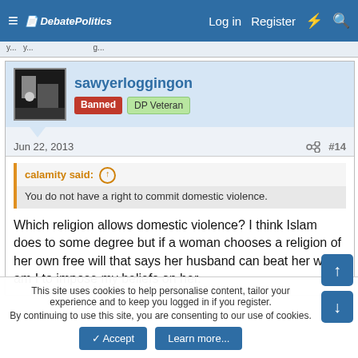DebatePolitics — Log in  Register
sawyerloggingon — Banned  DP Veteran
Jun 22, 2013  #14
calamity said: ↑  You do not have a right to commit domestic violence.
Which religion allows domestic violence? I think Islam does to some degree but if a woman chooses a religion of her own free will that says her husband can beat her who am I to impose my beliefs on her.
This site uses cookies to help personalise content, tailor your experience and to keep you logged in if you register.
By continuing to use this site, you are consenting to our use of cookies.
✓ Accept   Learn more…